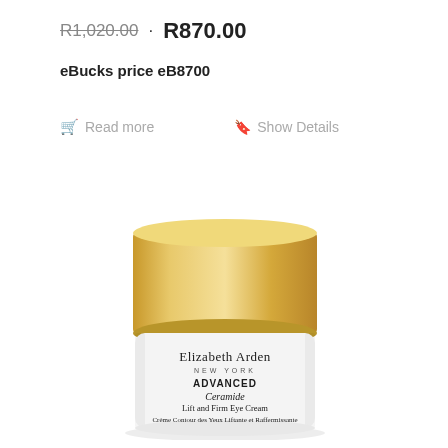R1,020.00 · R870.00
eBucks price eB8700
Read more  Show Details
[Figure (photo): Elizabeth Arden Advanced Ceramide Lift and Firm Eye Cream product jar with gold lid on white background]